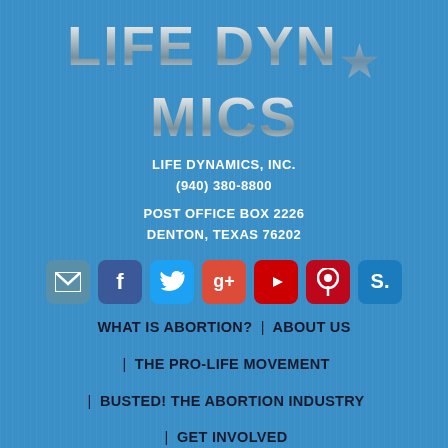[Figure (logo): Life Dynamics logo with metallic silver text and a star replacing the 'A' in DYNAMICS]
LIFE DYNAMICS, INC.
(940) 380-8800
POST OFFICE BOX 2226
DENTON, TEXAS 76202
[Figure (infographic): Row of social media icons: email, Facebook, Twitter, Google+, YouTube, Pinterest, Scribd]
WHAT IS ABORTION?  |  ABOUT US
|  THE PRO-LIFE MOVEMENT
|  BUSTED! THE ABORTION INDUSTRY
|  GET INVOLVED
|  PREGNANCY CENTER RESOURCES  |  PRODUCTS
CONTACT US    ENGAGE WITH US
DONATE